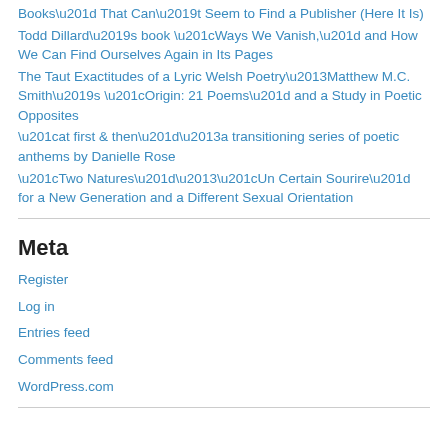Books” That Can’t Seem to Find a Publisher (Here It Is)
Todd Dillard’s book “Ways We Vanish,” and How We Can Find Ourselves Again in Its Pages
The Taut Exactitudes of a Lyric Welsh Poetry–Matthew M.C. Smith’s “Origin: 21 Poems” and a Study in Poetic Opposites
“at first & then”–a transitioning series of poetic anthems by Danielle Rose
“Two Natures”–“Un Certain Sourire” for a New Generation and a Different Sexual Orientation
Meta
Register
Log in
Entries feed
Comments feed
WordPress.com